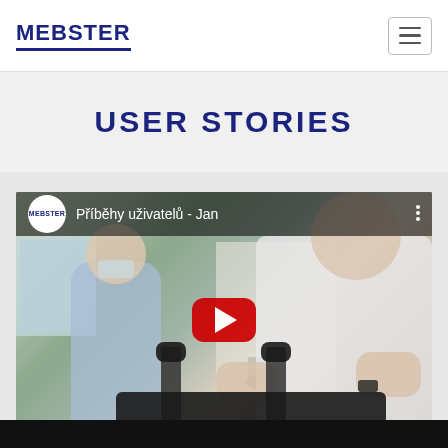MEBSTER
USER STORIES
[Figure (screenshot): YouTube video thumbnail showing a user on a rehabilitation device (Mebster equipment). Video title: Příběhy uživatelů - Jan. Red YouTube play button in center. Mebster logo circle in top-left corner.]